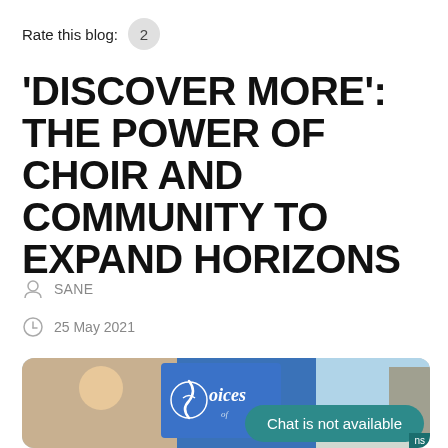Rate this blog:  2
'DISCOVER MORE': THE POWER OF CHOIR AND COMMUNITY TO EXPAND HORIZONS
SANE
25 May 2021
[Figure (photo): A man smiling outdoors in front of a blue choir banner reading 'Voices' with a treble clef logo, and another person partially visible. A 'Chat is not available' overlay appears at the bottom right.]